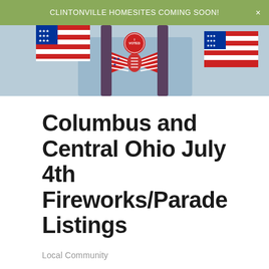CLINTONVILLE HOMESITES COMING SOON!
[Figure (photo): Hero image showing patriotic American flag themed accessories including a flag bow tie and vote button, person wearing suspenders with light blue background]
Columbus and Central Ohio July 4th Fireworks/Parade Listings
Local Community